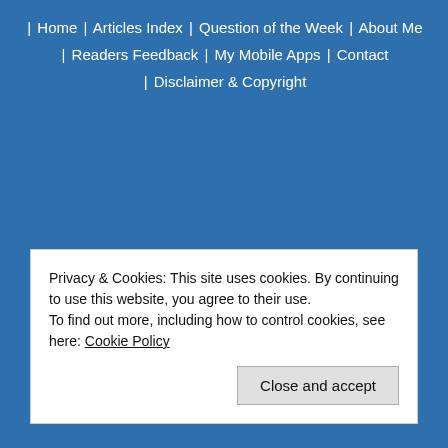| Home | Articles Index | Question of the Week | About Me | Readers Feedback | My Mobile Apps | Contact | Disclaimer & Copyright
Privacy & Cookies: This site uses cookies. By continuing to use this website, you agree to their use.
To find out more, including how to control cookies, see here: Cookie Policy
Close and accept